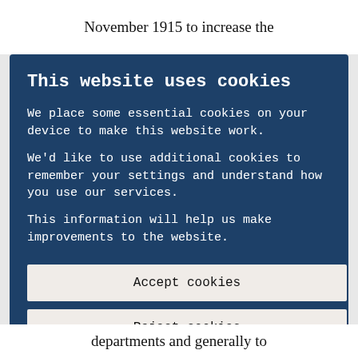November 1915 to increase the
This website uses cookies
We place some essential cookies on your device to make this website work.
We'd like to use additional cookies to remember your settings and understand how you use our services.
This information will help us make improvements to the website.
Accept cookies
Reject cookies
departments and generally to